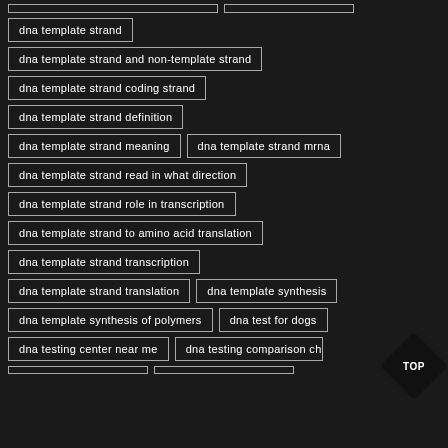dna template strand
dna template strand and non-template strand
dna template strand coding strand
dna template strand definition
dna template strand meaning
dna template strand mrna
dna template strand read in what direction
dna template strand role in transcription
dna template strand to amino acid translation
dna template strand transcription
dna template strand translation
dna template synthesis
dna template synthesis of polymers
dna test for dogs
dna testing center near me
dna testing comparison ch...